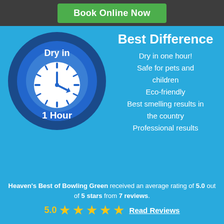Book Online Now
[Figure (logo): Circular badge with clock icon reading 'Dry in 1 Hour' on a dark blue background]
Best Difference
Dry in one hour!
Safe for pets and children
Eco-friendly
Best smelling results in the country
Professional results
Heaven's Best of Bowling Green received an average rating of 5.0 out of 5 stars from 7 reviews.
5.0 ★★★★★ Read Reviews